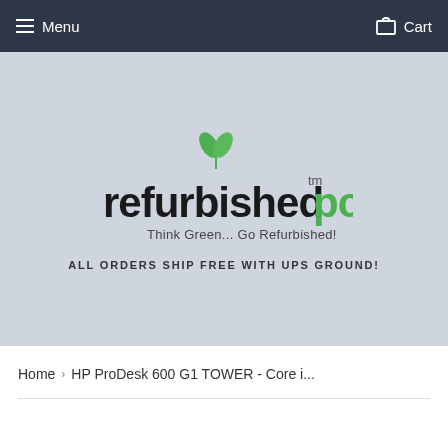Menu  Cart
[Figure (logo): refurbishedpc logo with green leaves above the 'i', text reads 'refurbishedpc' with 'tm' superscript, tagline 'Think Green... Go Refurbished!']
ALL ORDERS SHIP FREE WITH UPS GROUND!
Home › HP ProDesk 600 G1 TOWER - Core i...